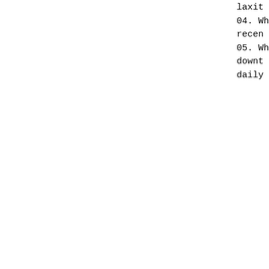laxit
04. Wh
recen
05. Wh
downt
daily